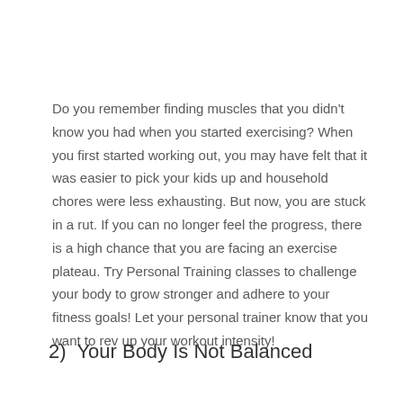Do you remember finding muscles that you didn't know you had when you started exercising? When you first started working out, you may have felt that it was easier to pick your kids up and household chores were less exhausting. But now, you are stuck in a rut. If you can no longer feel the progress, there is a high chance that you are facing an exercise plateau. Try Personal Training classes to challenge your body to grow stronger and adhere to your fitness goals! Let your personal trainer know that you want to rev up your workout intensity!
2)  Your Body Is Not Balanced